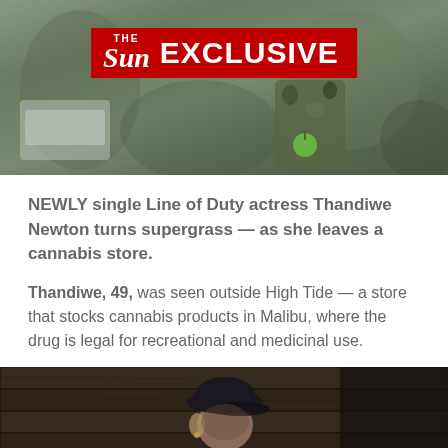[Figure (photo): Top photo showing a person in camouflage clothing outside, with The Sun Exclusive badge/logo overlaid in red at the top center]
NEWLY single Line of Duty actress Thandiwe Newton turns supergrass — as she leaves a cannabis store.
Thandiwe, 49, was seen outside High Tide — a store that stocks cannabis products in Malibu, where the drug is legal for recreational and medicinal use.
[Figure (photo): Bottom photo showing Thandiwe Newton wearing a dark baseball cap, photographed from the waist up against a wooden wall background]